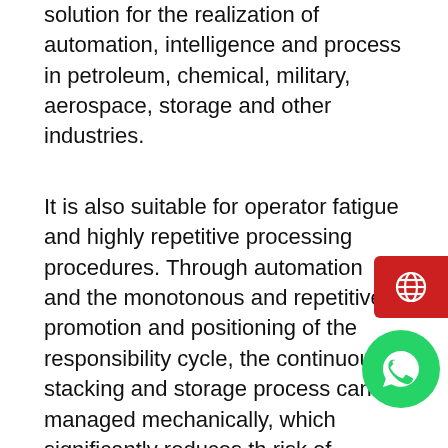solution for the realization of automation, intelligence and process in petroleum, chemical, military, aerospace, storage and other industries.
It is also suitable for operator fatigue and highly repetitive processing procedures. Through automation and the monotonous and repetitive promotion and positioning of the responsibility cycle, the continuous stacking and storage process can be managed mechanically, which significantly reduces the risk of accidents while improving accuracy and efficiency.